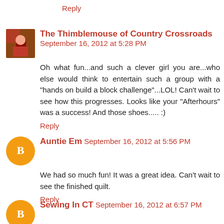Reply
The Thimblemouse of Country Crossroads September 16, 2012 at 5:28 PM
Oh what fun...and such a clever girl you are...who else would think to entertain such a group with a "hands on build a block challenge"...LOL! Can't wait to see how this progresses. Looks like your "Afterhours" was a success! And those shoes..... :)
Reply
Auntie Em September 16, 2012 at 5:56 PM
We had so much fun! It was a great idea. Can't wait to see the finished quilt.
Reply
Sewing In CT September 16, 2012 at 6:57 PM